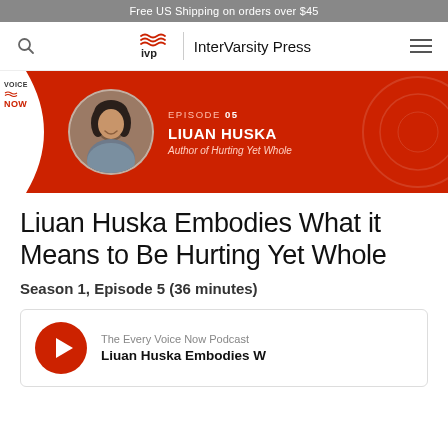Free US Shipping on orders over $45
[Figure (logo): InterVarsity Press logo with IVP branding and navigation icons]
[Figure (infographic): Voice Now podcast episode banner - Episode 05, Liuan Huska, Author of Hurting Yet Whole, red background with circular headshot photo]
Liuan Huska Embodies What it Means to Be Hurting Yet Whole
Season 1, Episode 5 (36 minutes)
[Figure (screenshot): Podcast player card showing red play button, 'The Every Voice Now Podcast' label, and title 'Liuan Huska Embodies W...']